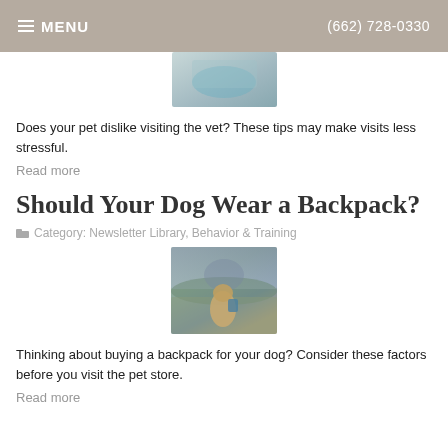≡ MENU   (662) 728-0330
[Figure (photo): Partial image of pet food bowl and teal cloth/towel]
Does your pet dislike visiting the vet? These tips may make visits less stressful.
Read more
Should Your Dog Wear a Backpack?
Category: Newsletter Library, Behavior & Training
[Figure (photo): A dog wearing a backpack standing near a mountain lake with trees and mountains in background]
Thinking about buying a backpack for your dog? Consider these factors before you visit the pet store.
Read more